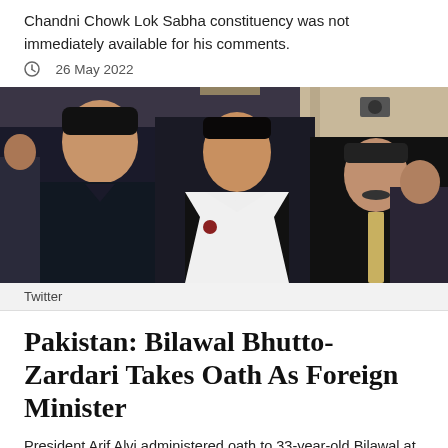Chandni Chowk Lok Sabha constituency was not immediately available for his comments.
26 May 2022
[Figure (photo): Three men in formal attire standing together at an official event. The man on the left wears a dark sherwani, the man in the center wears a black suit with white shirt, and the man on the right wears a black suit with a patterned tie. Several other people visible in the background.]
Twitter
Pakistan: Bilawal Bhutto-Zardari Takes Oath As Foreign Minister
President Arif Alvi administered oath to 33-year-old Bilawal at a